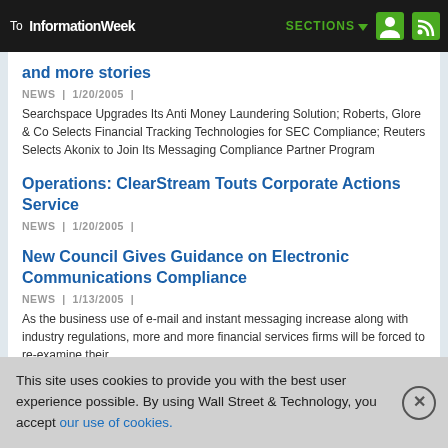To InformationWeek | SECTIONS
and more stories
NEWS | 1/20/2005 |
Searchspace Upgrades Its Anti Money Laundering Solution; Roberts, Glore & Co Selects Financial Tracking Technologies for SEC Compliance; Reuters Selects Akonix to Join Its Messaging Compliance Partner Program
Operations: ClearStream Touts Corporate Actions Service
NEWS | 1/20/2005 |
New Council Gives Guidance on Electronic Communications Compliance
NEWS | 1/13/2005 |
As the business use of e-mail and instant messaging increase along with industry regulations, more and more financial services firms will be forced to re-examine their
This site uses cookies to provide you with the best user experience possible. By using Wall Street & Technology, you accept our use of cookies.